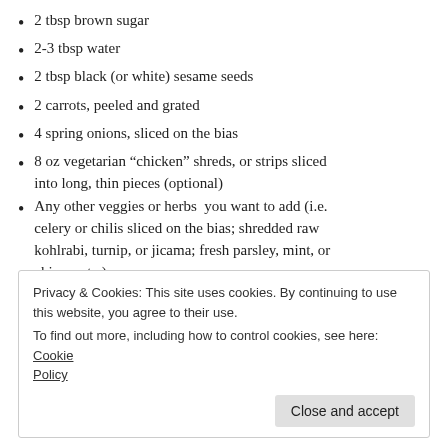2 tbsp brown sugar
2-3 tbsp water
2 tbsp black (or white) sesame seeds
2 carrots, peeled and grated
4 spring onions, sliced on the bias
8 oz vegetarian “chicken” shreds, or strips sliced into long, thin pieces (optional)
Any other veggies or herbs  you want to add (i.e. celery or chilis sliced on the bias; shredded raw kohlrabi, turnip, or jicama; fresh parsley, mint, or chives; etc.)
Privacy & Cookies: This site uses cookies. By continuing to use this website, you agree to their use.
To find out more, including how to control cookies, see here: Cookie Policy